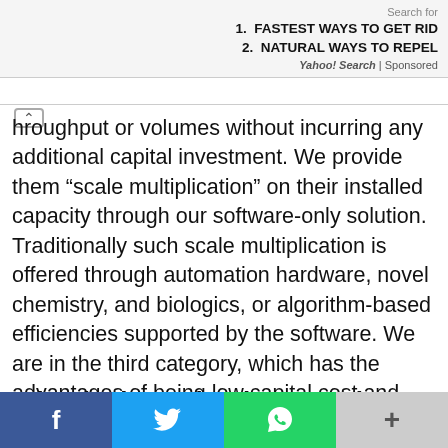Search for
1. FASTEST WAYS TO GET RID...
2. NATURAL WAYS TO REPEL...
Yahoo! Search | Sponsored
hroughput or volumes without incurring any additional capital investment. We provide them “scale multiplication” on their installed capacity through our software-only solution. Traditionally such scale multiplication is offered through automation hardware, novel chemistry, and biologics, or algorithm-based efficiencies supported by the software. We are in the third category, which has the advantages of being low capital cost and easy solution delivery through the cloud. The uniqueness of our solution lies in us being an AI-enabled SaaS solution that is independent of the underlying molecular test. This space is greenfield and ripe for a huge growth spurt like we have seen in AI-based medical imaging in the last five years.
What is the technology stack
f  📤  📱  +